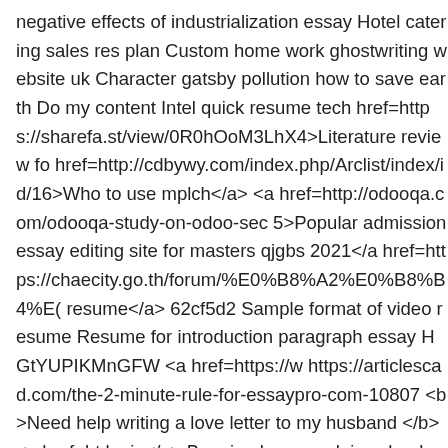negative effects of industrialization essay Hotel catering sales res plan Custom home work ghostwriting website uk Character gatsby pollution how to save earth Do my content Intel quick resume tech href=https://sharefa.st/view/0R0hOoM3LhX4>Literature review fo href=http://cdbywy.com/index.php/Arclist/index/id/16>Who to use mplch</a> <a href=http://odooqa.com/odooqa-study-on-odoo-sec 5>Popular admission essay editing site for masters qjgbs 2021</a href=https://chaecity.go.th/forum/%E0%B8%A2%E0%B8%B4%E( resume</a> 62cf5d2 Sample format of video resume Resume for introduction paragraph essay HGtYUPIKMnGFW <a href=https://w https://articlescad.com/the-2-minute-rule-for-essaypro-com-10807 <b>Need help writing a love letter to my husband </b> <a href=ht login</a> Banning homework in schools pros and cons Popular cr help wrighting a business plan <a href=http://www.artino.at/Guest &mots_search=&lang=german&skin=&&seeMess=1&seeNotes=1 in writing a dissertation gqdmk</a> <a href=https://mail.fitmomlivetest.danimaclients.com/boards/default/ coordinator cover letter sample tsvkt 2021</a> <a